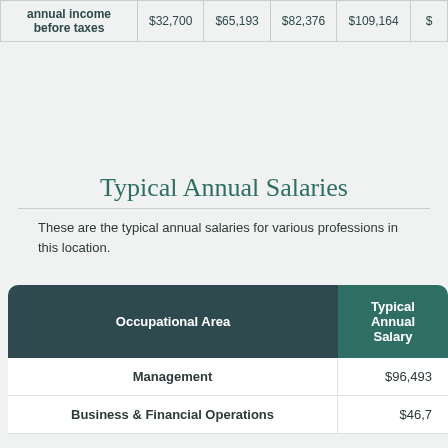| annual income before taxes | $32,700 | $65,193 | $82,376 | $109,164 | $ |
| --- | --- | --- | --- | --- | --- |
Typical Annual Salaries
These are the typical annual salaries for various professions in this location.
| Occupational Area | Typical Annual Salary |
| --- | --- |
| Management | $96,493 |
| Business & Financial Operations | $46,7… |